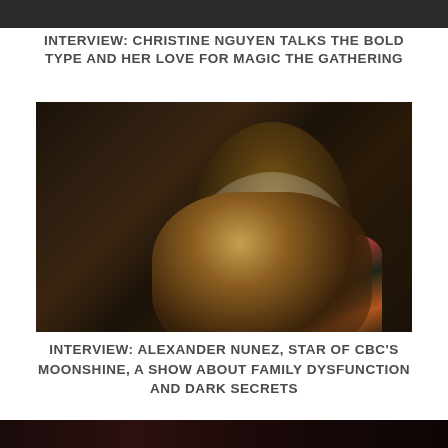[Figure (photo): Partial photo at top of page, dark toned image cropped]
INTERVIEW: CHRISTINE NGUYEN TALKS THE BOLD TYPE AND HER LOVE FOR MAGIC THE GATHERING
[Figure (photo): Portrait photo of Alexander Nunez, a young man with curly dark hair wearing a floral shirt, seated in a light-colored chair, in a dark moody setting]
INTERVIEW: ALEXANDER NUNEZ, STAR OF CBC'S MOONSHINE, A SHOW ABOUT FAMILY DYSFUNCTION AND DARK SECRETS
[Figure (photo): Partial photo at bottom of page, dark toned image cropped]